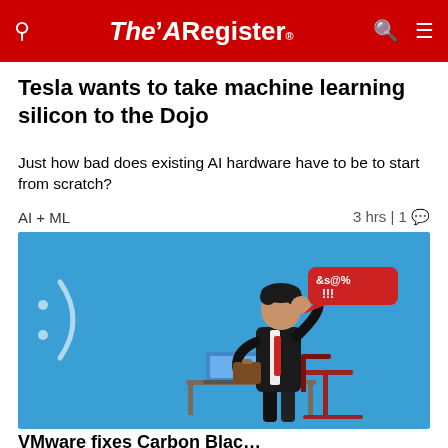The Register
Tesla wants to take machine learning silicon to the Dojo
Just how bad does existing AI hardware have to be to start from scratch?
AI + ML   3 hrs | 1
[Figure (illustration): Blue screen of death themed illustration showing a frustrated businessman in a suit with a briefcase, scratching his head, standing next to a desk with a laptop showing a blue screen. A red speech bubble with '&s@% !!!' text. Blue background with a sad face emoticon :(]
VMware fixes Carbon Black causing BSOD